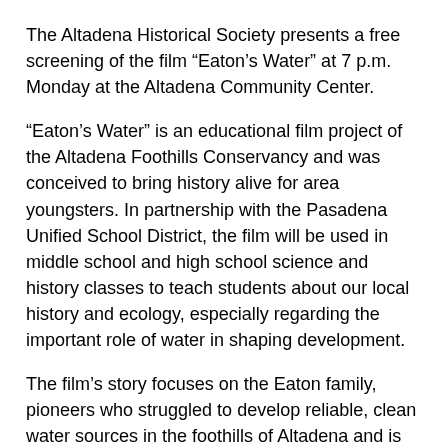The Altadena Historical Society presents a free screening of the film “Eaton’s Water” at 7 p.m. Monday at the Altadena Community Center.
“Eaton’s Water” is an educational film project of the Altadena Foothills Conservancy and was conceived to bring history alive for area youngsters. In partnership with the Pasadena Unified School District, the film will be used in middle school and high school science and history classes to teach students about our local history and ecology, especially regarding the important role of water in shaping development.
The film’s story focuses on the Eaton family, pioneers who struggled to develop reliable, clean water sources in the foothills of Altadena and is told through the voice of Benjamin Eaton’s second wife Alice. From 1865 to 1874, Benjamin Eaton worked to bring water out of the San Gabriel Mountains via the Arroyo Seco and Eaton Canyon, making possible the development of Pasadena, Altadena and South Pasadena.
The film was two years in the making and a special community outreach project of the Art Center College of Design. Art Center student Sally Levi adapted Michele